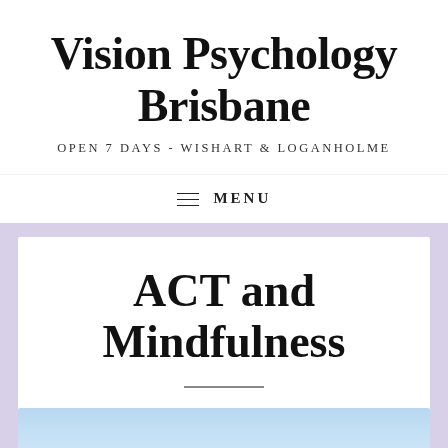Vision Psychology Brisbane
OPEN 7 DAYS - WISHART & LOGANHOLME
≡ MENU
ACT and Mindfulness
[Figure (photo): Blue and white gradient image strip at the bottom of a white card, partially visible]